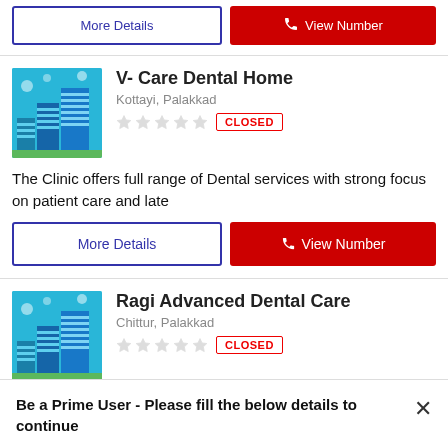[Figure (screenshot): Partial top section showing two buttons: More Details (blue outline) and View Number (red)]
V- Care Dental Home
Kottayi, Palakkad
CLOSED
The Clinic offers full range of Dental services with strong focus on patient care and late
More Details
View Number
Ragi Advanced Dental Care
Chittur, Palakkad
CLOSED
Dental Clinic
Be a Prime User - Please fill the below details to continue